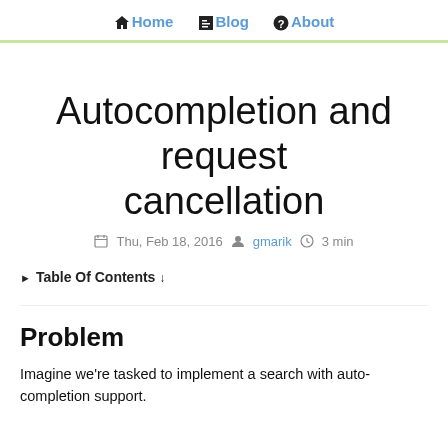Home  Blog  About
Autocompletion and request cancellation
Thu, Feb 18, 2016  gmarik  3 min
Table Of Contents ↓
Problem
Imagine we're tasked to implement a search with auto-completion support.